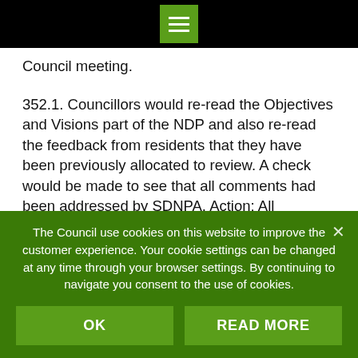Council meeting.
352.1. Councillors would re-read the Objectives and Visions part of the NDP and also re-read the feedback from residents that they have been previously allocated to review. A check would be made to see that all comments had been addressed by SDNPA. Action: All Councillors.
353. Date, Time and Place of Next Meeting – Monday 6th April 2020 at 7.00pm in the Epworth Hall
The Council use cookies on this website to improve the customer experience. Your cookie settings can be changed at any time through your browser settings. By continuing to navigate you consent to the use of cookies.